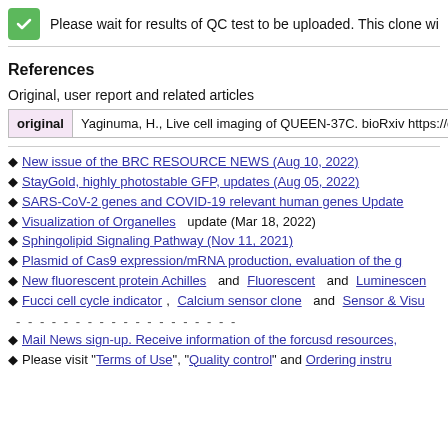Please wait for results of QC test to be uploaded. This clone wi
References
Original, user report and related articles
|  |  |
| --- | --- |
| original | Yaginuma, H., Live cell imaging of QUEEN-37C. bioRxiv https://doi.o |
New issue of the BRC RESOURCE NEWS (Aug 10, 2022)
StayGold, highly photostable GFP, updates (Aug 05, 2022)
SARS-CoV-2 genes and COVID-19 relevant human genes Update
Visualization of Organelles update (Mar 18, 2022)
Sphingolipid Signaling Pathway (Nov 11, 2021)
Plasmid of Cas9 expression/mRNA production, evaluation of the g
New fluorescent protein Achilles and Fluorescent and Luminescen
Fucci cell cycle indicator, Calcium sensor clone and Sensor & Visu
Mail News sign-up. Receive information of the forcusd resources,
Please visit "Terms of Use", "Quality control" and Ordering instru